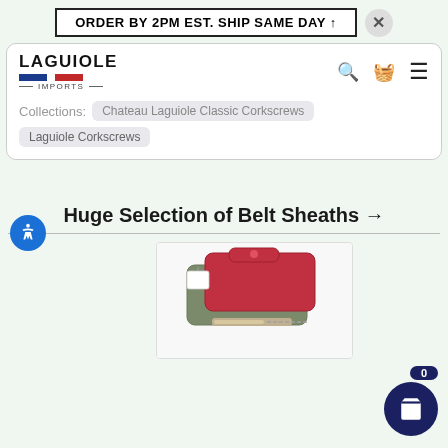ORDER BY 2PM EST. SHIP SAME DAY ↑
[Figure (screenshot): Laguiole Imports website navigation header with logo, search, cart, and menu icons, showing Collections: Chateau Laguiole Classic Corkscrews, Laguiole Corkscrews tags]
Collections: Chateau Laguiole Classic Corkscrews  Laguiole Corkscrews
Huge Selection of Belt Sheaths →
[Figure (photo): Photo of leather belt sheaths in red and olive/grey colors with a knife partially visible at the bottom]